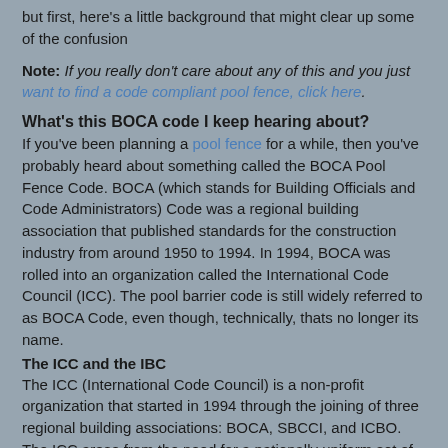but first, here's a little background that might clear up some of the confusion
Note: If you really don't care about any of this and you just want to find a code compliant pool fence, click here.
What's this BOCA code I keep hearing about?
If you've been planning a pool fence for a while, then you've probably heard about something called the BOCA Pool Fence Code.  BOCA (which stands for Building Officials and Code Administrators) Code was a regional building association that published standards for the construction industry from around 1950 to 1994.  In 1994, BOCA was rolled into an organization called the International Code Council (ICC).  The pool barrier code is still widely referred to as BOCA Code, even though, technically, thats no longer its name.
The ICC and the IBC
The ICC (International Code Council) is a non-profit organization that started in 1994 through the joining of three regional building associations: BOCA, SBCCI, and ICBO. The ICC arose from the need for a nationally uniform set of building standards; and so in 2000, the council published the International Building Code, or IBC, which is a comprehensive set of codes, standards, and guidelines that cover everything from plumbing to